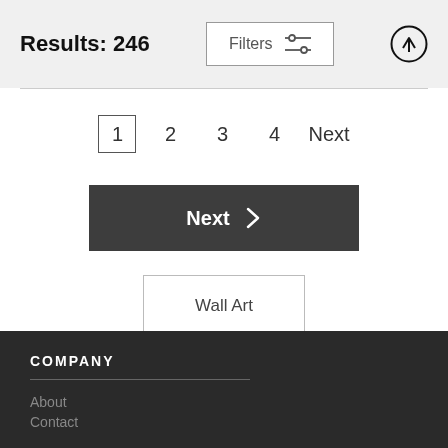Results: 246
Filters
1  2  3  4  Next
Next
Wall Art
COMPANY
About
Contact